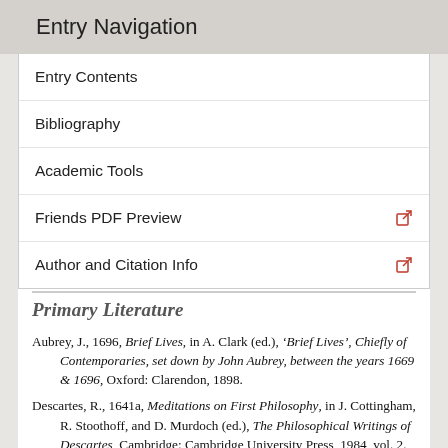Entry Navigation
Entry Contents
Bibliography
Academic Tools
Friends PDF Preview
Author and Citation Info
Primary Literature
Aubrey, J., 1696, Brief Lives, in A. Clark (ed.), ‘Brief Lives’, Chiefly of Contemporaries, set down by John Aubrey, between the years 1669 & 1696, Oxford: Clarendon, 1898.
Descartes, R., 1641a, Meditations on First Philosophy, in J. Cottingham, R. Stoothoff, and D. Murdoch (ed.), The Philosophical Writings of Descartes, Cambridge: Cambridge University Press, 1984, vol. 2.
Descartes, R., 1641b, Letter to Marin Mersenne for